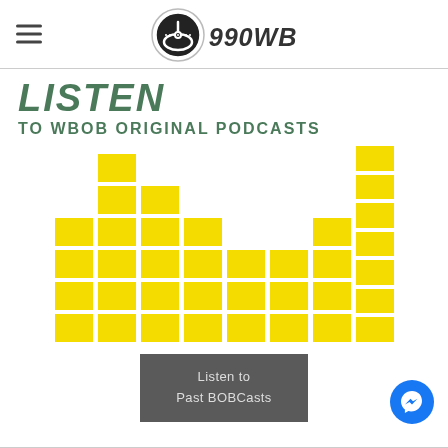990WBOB
LISTEN
TO WBOB ORIGINAL PODCASTS
[Figure (infographic): Stylized audio equalizer / bar chart graphic made of yellow segmented rectangles arranged in columns of varying heights, representing podcast waveform visualization.]
Listen to Past BOBCasts